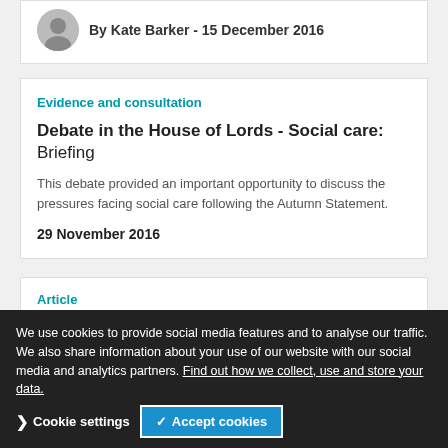By Kate Barker - 15 December 2016
Evidence and consultation
Debate in the House of Lords - Social care: Briefing
This debate provided an important opportunity to discuss the pressures facing social care following the Autumn Statement.
29 November 2016
Article
UK government’s Autumn Statement: no relief for NHS and social care in England: Staff have become shock absorbers in a system lacking resources to meet rising demand.
If silence speaks volumes then th
We use cookies to provide social media features and to analyse our traffic. We also share information about your use of our website with our social media and analytics partners. Find out how we collect, use and store your data.